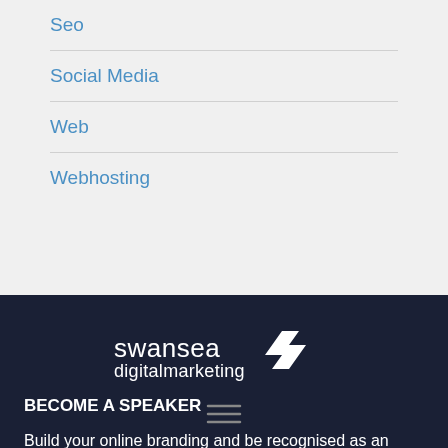Seo
Social Media
Web
Webhosting
[Figure (logo): Swansea Digital Marketing logo — white text with a white stylized S chevron icon on dark navy background]
BECOME A SPEAKER
Build your online branding and be recognised as an expert within your niche whilst enlightening others.